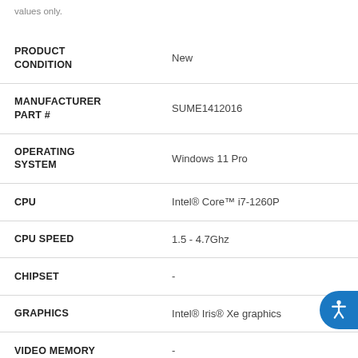values only.
| Attribute | Value |
| --- | --- |
| PRODUCT CONDITION | New |
| MANUFACTURER PART # | SUME1412016 |
| OPERATING SYSTEM | Windows 11 Pro |
| CPU | Intel® Core™ i7-1260P |
| CPU SPEED | 1.5 - 4.7Ghz |
| CHIPSET | - |
| GRAPHICS | Intel® Iris® Xe graphics |
| VIDEO MEMORY | - |